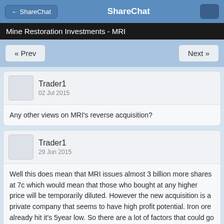ShareChat
Mine Restoration Investments - MRI
« Prev   Next »
Trader1
02 Jul 2015

Any other views on MRI's reverse acquisition?
Trader1
29 Jun 2015

Well this does mean that MRI issues almost 3 billion more shares at 7c which would mean that those who bought at any higher price will be temporarily diluted. However the new acquisition is a private company that seems to have high profit potential. Iron ore already hit it's 5year low. So there are a lot of factors that could go our way.
myusuf
28 Jun 2015